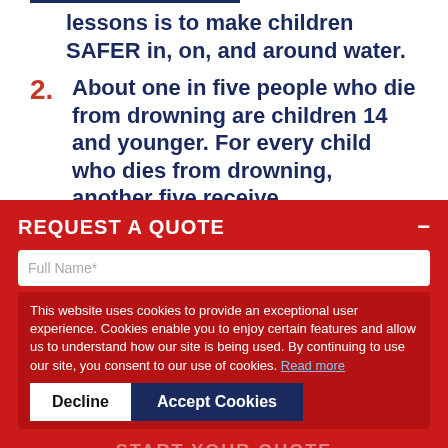lessons is to make children SAFER in, on, and around water.
2. About one in five people who die from drowning are children 14 and younger. For every child who dies from drowning, another five receive
REQUEST A QUOTE
Full Name*
This website uses cookies to provide an exceptional user experience. Cookies enable you to enjoy certain features and allow us to understand how our site is being used. By continuing to use our site, you consent to our use of cookies. Read more
START YOUR QUOTE